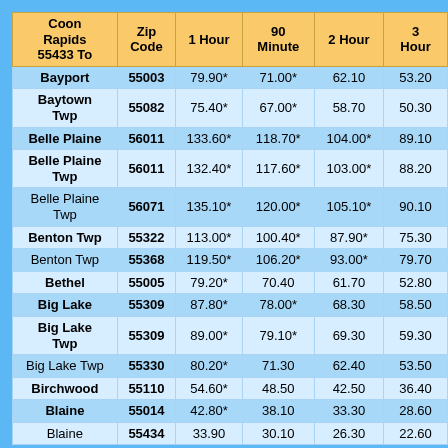| Coon Rapids 55433 To | Zip Code | 1 Hour | 90 Minute | 2 Hour | 3 Hour |
| --- | --- | --- | --- | --- | --- |
| Bayport | 55003 | 79.90* | 71.00* | 62.10 | 53.20 |
| Baytown Twp | 55082 | 75.40* | 67.00* | 58.70 | 50.30 |
| Belle Plaine | 56011 | 133.60* | 118.70* | 104.00* | 89.10 |
| Belle Plaine Twp | 56011 | 132.40* | 117.60* | 103.00* | 88.20 |
| Belle Plaine Twp | 56071 | 135.10* | 120.00* | 105.10* | 90.10 |
| Benton Twp | 55322 | 113.00* | 100.40* | 87.90* | 75.30 |
| Benton Twp | 55368 | 119.50* | 106.20* | 93.00* | 79.70 |
| Bethel | 55005 | 79.20* | 70.40 | 61.70 | 52.80 |
| Big Lake | 55309 | 87.80* | 78.00* | 68.30 | 58.50 |
| Big Lake Twp | 55309 | 89.00* | 79.10* | 69.30 | 59.30 |
| Big Lake Twp | 55330 | 80.20* | 71.30 | 62.40 | 53.50 |
| Birchwood | 55110 | 54.60* | 48.50 | 42.50 | 36.40 |
| Blaine | 55014 | 42.80* | 38.10 | 33.30 | 28.60 |
| Blaine | 55434 | 33.90 | 30.10 | 26.30 | 22.60 |